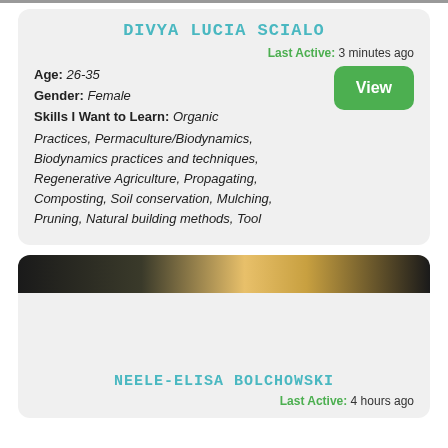DIVYA LUCIA SCIALO
Last Active: 3 minutes ago
Age: 26-35
Gender: Female
Skills I Want to Learn: Organic Practices, Permaculture/Biodynamics, Biodynamics practices and techniques, Regenerative Agriculture, Propagating, Composting, Soil conservation, Mulching, Pruning, Natural building methods, Tool
[Figure (photo): Landscape banner photo showing a sunrise or sunset over a dark terrain with bright golden light in the center]
NEELE-ELISA BOLCHOWSKI
Last Active: 4 hours ago